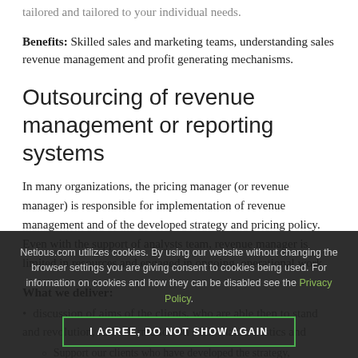tailored and tailored to your individual needs.
Benefits: Skilled sales and marketing teams, understanding sales revenue management and profit generating mechanisms.
Outsourcing of revenue management or reporting systems
In many organizations, the pricing manager (or revenue manager) is responsible for implementation of revenue management and of the developed strategy and pricing policy. Even with the support of analysts team, revenue manager is limited in resources and engaged in ongoing, operational work.
What we deliver:
discussion of aims of the clients, who are able then to stand revolution, full information on such characteristics and
Support our clients who have developed the strategy, guaranteeing interpretation of revenue management
Netious.com utilizes cookies. By using our website without changing the browser settings you are giving consent to cookies being used. For information on cookies and how they can be disabled see the Privacy Policy.
I AGREE, DO NOT SHOW AGAIN